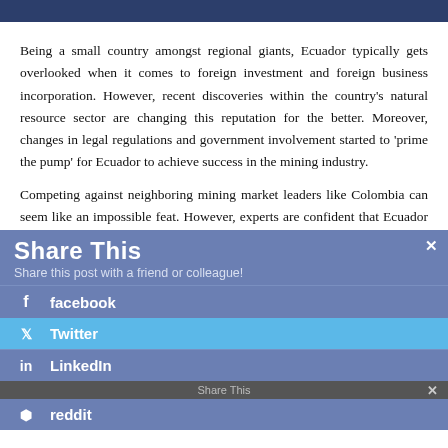Being a small country amongst regional giants, Ecuador typically gets overlooked when it comes to foreign investment and foreign business incorporation. However, recent discoveries within the country's natural resource sector are changing this reputation for the better. Moreover, changes in legal regulations and government involvement started to 'prime the pump' for Ecuador to achieve success in the mining industry.
Competing against neighboring mining market leaders like Colombia can seem like an impossible feat. However, experts are confident that Ecuador has what it takes to be the world's next big mining industry. Opportunities for investment and industry involvement are appearing just as quickly as they are getting snatched up. The time to learn more about Ecuador's promising future and get involved in
[Figure (screenshot): Share This social sharing overlay with Facebook, Twitter, LinkedIn, and Reddit buttons. Title reads 'Share This' with subtitle 'Share this post with a friend or colleague!']